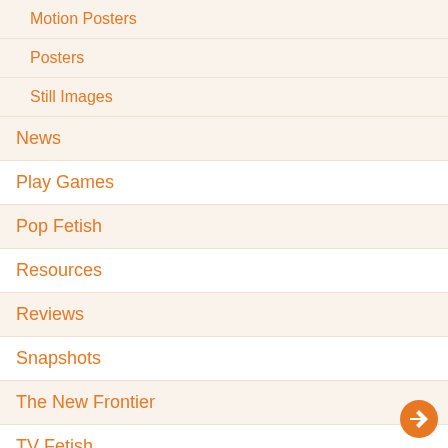Motion Posters
Posters
Still Images
News
Play Games
Pop Fetish
Resources
Reviews
Snapshots
The New Frontier
TV Fetish